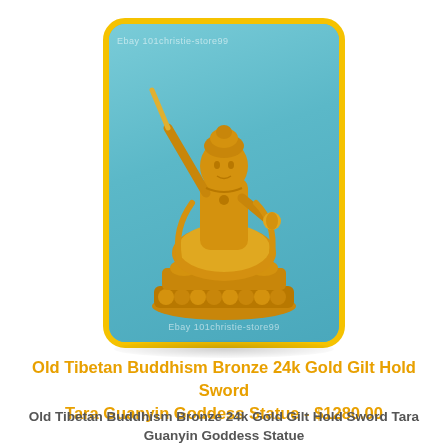[Figure (photo): A golden Tibetan Buddhist statue of Tara/Guanyin Goddess holding a sword, seated on a lotus base, gilt bronze finish, displayed against a teal/blue background, inside a rounded rectangle frame with a yellow/gold border. Watermark text reads 'Ebay 101christie-store99' at top and bottom.]
Old Tibetan Buddhism Bronze 24k Gold Gilt Hold Sword Tara Guanyin Goddess Statue - $1280.00
Old Tibetan Buddhism Bronze 24k Gold Gilt Hold Sword Tara Guanyin Goddess Statue